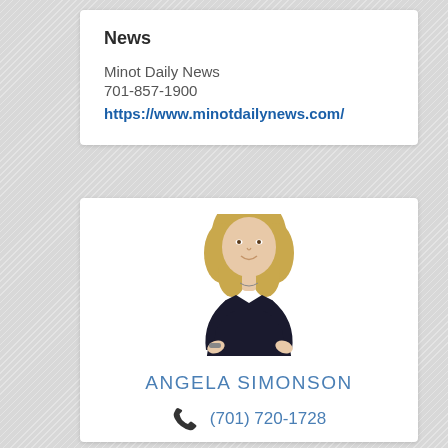News
Minot Daily News
701-857-1900
https://www.minotdailynews.com/
[Figure (photo): Professional headshot photo of Angela Simonson, a blonde woman in a black top, standing with hands on hips and smiling]
ANGELA SIMONSON
(701) 720-1728